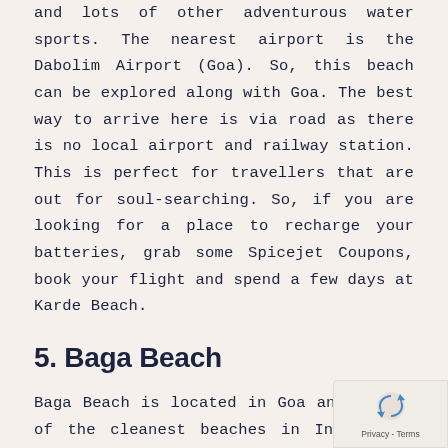and lots of other adventurous water sports. The nearest airport is the Dabolim Airport (Goa). So, this beach can be explored along with Goa. The best way to arrive here is via road as there is no local airport and railway station. This is perfect for travellers that are out for soul-searching. So, if you are looking for a place to recharge your batteries, grab some Spicejet Coupons, book your flight and spend a few days at Karde Beach.
5. Baga Beach
Baga Beach is located in Goa and is one of the cleanest beaches in India. You can enjoy lots of water sports, eat at the local beachside cafes and restaurants and relish the seafood delicacies. Baga Beach has a